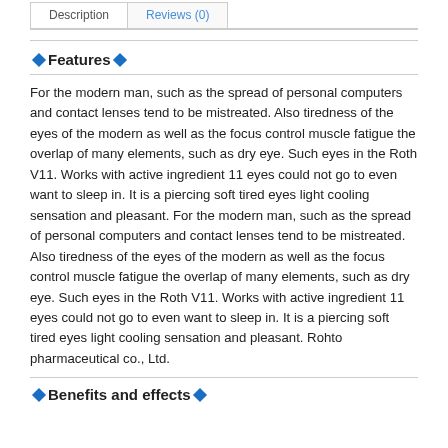Description | Reviews (0)
◆Features◆
For the modern man, such as the spread of personal computers and contact lenses tend to be mistreated. Also tiredness of the eyes of the modern as well as the focus control muscle fatigue the overlap of many elements, such as dry eye. Such eyes in the Roth V11. Works with active ingredient 11 eyes could not go to even want to sleep in. It is a piercing soft tired eyes light cooling sensation and pleasant. For the modern man, such as the spread of personal computers and contact lenses tend to be mistreated. Also tiredness of the eyes of the modern as well as the focus control muscle fatigue the overlap of many elements, such as dry eye. Such eyes in the Roth V11. Works with active ingredient 11 eyes could not go to even want to sleep in. It is a piercing soft tired eyes light cooling sensation and pleasant. Rohto pharmaceutical co., Ltd.
◆Benefits and effects◆